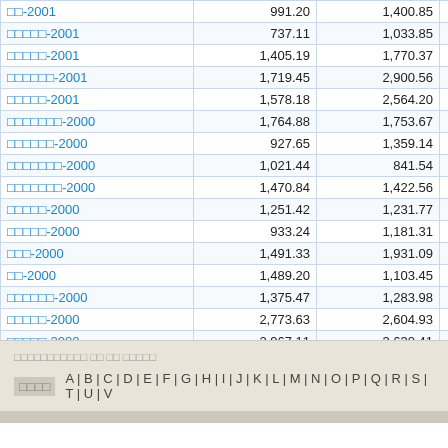|  | Col1 | Col2 | Diff |
| --- | --- | --- | --- |
| □□-2001 | 991.20 | 1,400.85 | -473 |
| □□□□□-2001 | 737.11 | 1,033.85 | -296 |
| □□□□□-2001 | 1,405.19 | 1,770.37 | -357 |
| □□□□□□-2001 | 1,719.45 | 2,900.56 | -1,181 |
| □□□□□-2001 | 1,578.18 | 2,564.20 | -924 |
| □□□□□□□-2000 | 1,764.88 | 1,753.67 | 11 |
| □□□□□□-2000 | 927.65 | 1,359.14 | -431 |
| □□□□□□□-2000 | 1,021.44 | 841.54 | 179 |
| □□□□□□□-2000 | 1,470.84 | 1,422.56 | 243 |
| □□□□□-2000 | 1,251.42 | 1,231.77 | 19 |
| □□□□□-2000 | 933.24 | 1,181.31 | -248 |
| □□□-2000 | 1,491.33 | 1,931.09 | -439 |
| □□-2000 | 1,489.20 | 1,103.45 | 385 |
| □□□□□□-2000 | 1,375.47 | 1,283.98 | 91 |
| □□□□□-2000 | 2,773.63 | 2,604.93 | 168 |
| □□□□□-2000 | 2,967.11 | 3,630.41 | -663 |
| TOTAL | 6,438,955.05 | 5,939,060.48 | 502,802 |
□□□□□□□□□□□ □□ □□ □□□□□
□□□□   A|B|C|D|E|F|G|H|I|J|K|L|M|N|O|P|Q|R|S|T|U|V